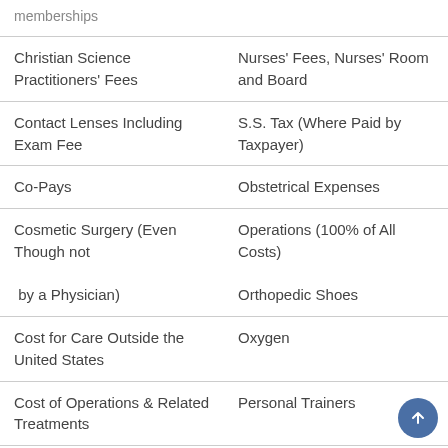| memberships |  |
| Christian Science Practitioners' Fees | Nurses' Fees, Nurses' Room and Board |
| Contact Lenses Including Exam Fee | S.S. Tax (Where Paid by Taxpayer) |
| Co-Pays | Obstetrical Expenses |
| Cosmetic Surgery (Even Though not
 by a Physician) | Operations (100% of All Costs)
Orthopedic Shoes |
| Cost for Care Outside the United States | Oxygen |
| Cost of Operations & Related Treatments | Personal Trainers |